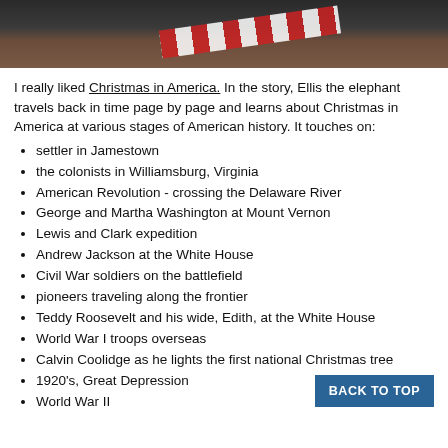[Figure (photo): Top strip showing a partial image with a diagonal red and white striped element on a dark/brown textured background]
I really liked Christmas in America. In the story, Ellis the elephant travels back in time page by page and learns about Christmas in America at various stages of American history. It touches on:
settler in Jamestown
the colonists in Williamsburg, Virginia
American Revolution - crossing the Delaware River
George and Martha Washington at Mount Vernon
Lewis and Clark expedition
Andrew Jackson at the White House
Civil War soldiers on the battlefield
pioneers traveling along the frontier
Teddy Roosevelt and his wide, Edith, at the White House
World War I troops overseas
Calvin Coolidge as he lights the first national Christmas tree
1920's, Great Depression
World War II